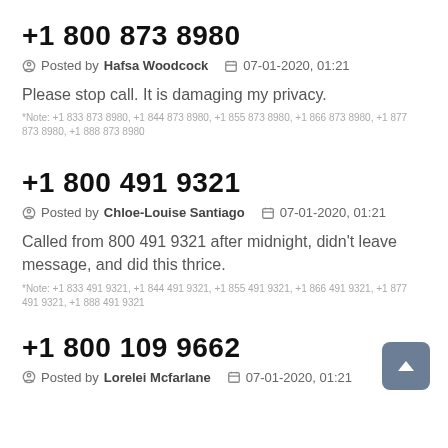+1 800 873 8980
Posted by Hafsa Woodcock   07-01-2020, 01:21
Please stop call. It is damaging my privacy.
*Note: +1 833 873 8980, +1 844 873 8980, +1 855 873 8980, +1 866 873 8980, +1 877 873 8980, +1 888 873 8980
+1 800 491 9321
Posted by Chloe-Louise Santiago   07-01-2020, 01:21
Called from 800 491 9321 after midnight, didn't leave message, and did this thrice.
*Note: +1 833 491 9321, +1 844 491 9321, +1 855 491 9321, +1 866 491 9321, +1 877 491 9321, +1 888 491 9321
+1 800 109 9662
Posted by Lorelei Mcfarlane   07-01-2020, 01:21